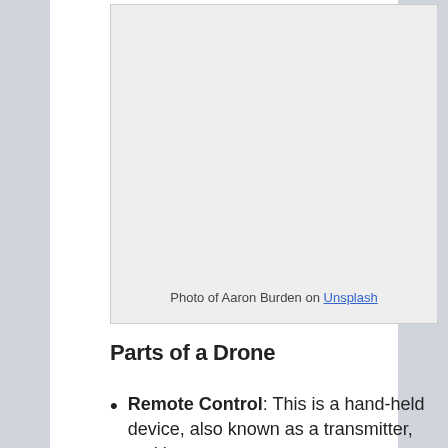[Figure (photo): A light gray placeholder image box representing a photo of Aaron Burden]
Photo of Aaron Burden on Unsplash
Parts of a Drone
Remote Control: This is a hand-held device, also known as a transmitter, and is